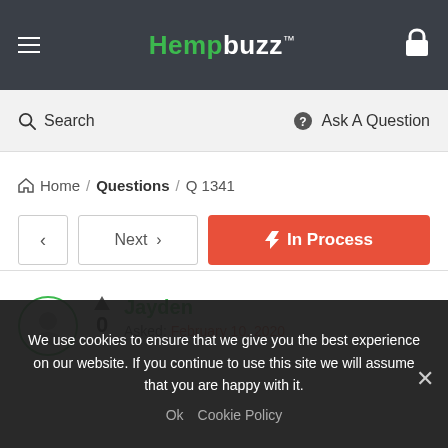Hempbuzz™
Search   Ask A Question
Home / Questions / Q 1341
‹   Next ›   ⚡ In Process
Jayden
Asked: February 10, 2020
0
We use cookies to ensure that we give you the best experience on our website. If you continue to use this site we will assume that you are happy with it.
Ok   Cookie Policy